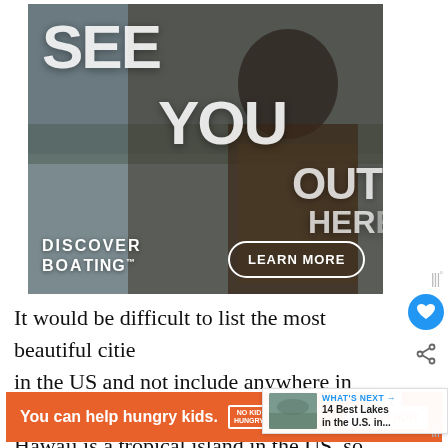[Figure (screenshot): Discover Boating advertisement banner showing a young man in camouflage gear near a lake. Text reads SEE YOU OUT HERE with DISCOVER BOATING logo and LEARN MORE button.]
It would be difficult to list the most beautiful cities in the US and not include anywhere in Hawaii. Hawaii is a tropical island in the US, so many exotic plants and animals you can't see anywhere else.
[Figure (screenshot): What's Next panel showing a lake scene thumbnail with text: 14 Best Lakes in the U.S. in...]
[Figure (screenshot): Bottom advertisement: orange banner with text 'You can help hungry kids.' No Kid Hungry logo and LEARN HOW button.]